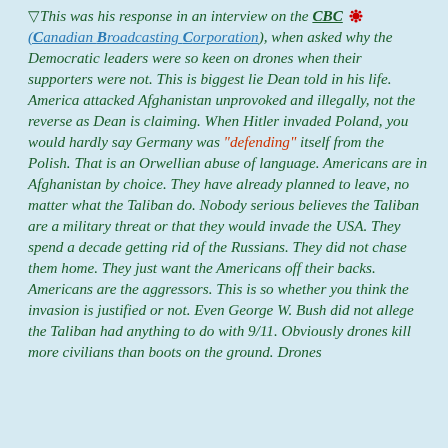▽This was his response in an interview on the CBC (Canadian Broadcasting Corporation), when asked why the Democratic leaders were so keen on drones when their supporters were not. This is biggest lie Dean told in his life. America attacked Afghanistan unprovoked and illegally, not the reverse as Dean is claiming. When Hitler invaded Poland, you would hardly say Germany was "defending" itself from the Polish. That is an Orwellian abuse of language. Americans are in Afghanistan by choice. They have already planned to leave, no matter what the Taliban do. Nobody serious believes the Taliban are a military threat or that they would invade the USA. They spend a decade getting rid of the Russians. They did not chase them home. They just want the Americans off their backs. Americans are the aggressors. This is so whether you think the invasion is justified or not. Even George W. Bush did not allege the Taliban had anything to do with 9/11. Obviously drones kill more civilians than boots on the ground. Drones